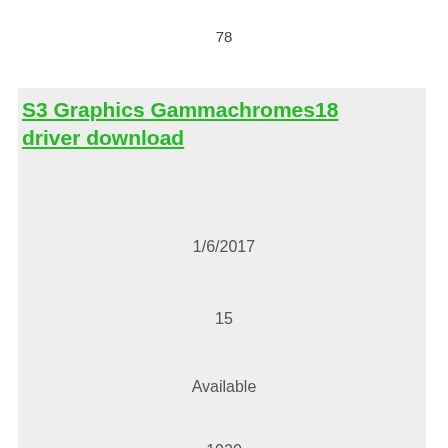78
S3 Graphics Gammachromes18 driver download
1/6/2017
15
Available
1020